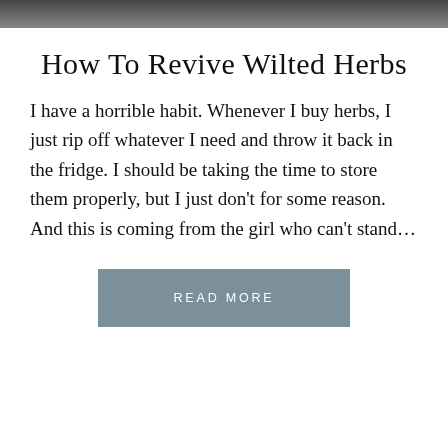[Figure (photo): Dark photographic image banner at the top of the page]
How To Revive Wilted Herbs
I have a horrible habit. Whenever I buy herbs, I just rip off whatever I need and throw it back in the fridge. I should be taking the time to store them properly, but I just don't for some reason. And this is coming from the girl who can't stand…
READ MORE